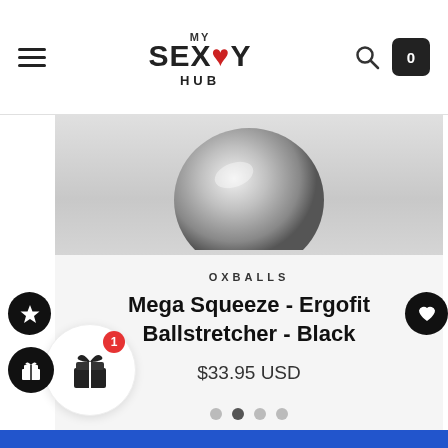My Sex Toy Hub — navigation header with hamburger menu, logo, search icon, and cart (0)
[Figure (photo): Product image of Mega Squeeze Ergofit Ballstretcher in Black — a dark metallic/silver spherical object shown from above on a light grey background]
OXBALLS
Mega Squeeze - Ergofit Ballstretcher - Black
$33.95 USD
[Figure (infographic): Carousel navigation dots — 4 dots, second dot active/filled dark]
[Figure (infographic): Left side button: black circle with star icon]
[Figure (infographic): Right side button: black circle with heart icon]
[Figure (infographic): Bottom left widget: black circle with gift/tag icon, and white circle gift widget with red badge showing '1']
Blue bar footer